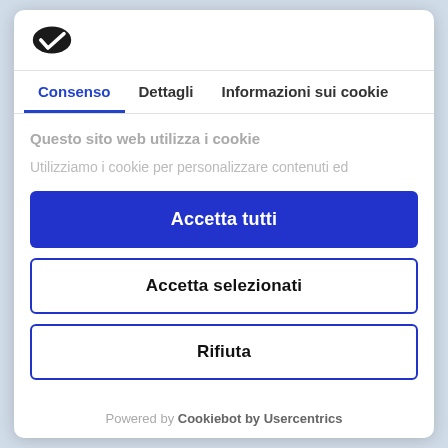[Figure (logo): Cookiebot logo — dark cookie/checkmark icon]
Consenso	Dettagli	Informazioni sui cookie
Questo sito web utilizza i cookie
Utilizziamo i cookie per personalizzare contenuti ed
Accetta tutti
Accetta selezionati
Rifiuta
Powered by Cookiebot by Usercentrics